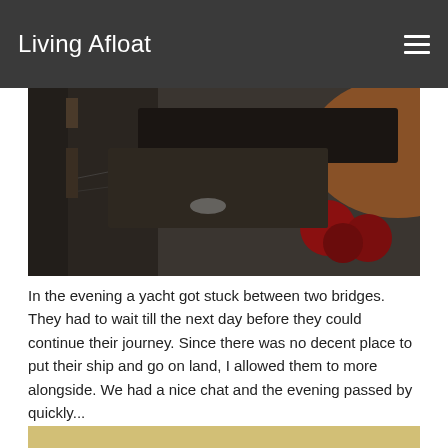Living Afloat
[Figure (photo): Close-up photo of a boat deck showing equipment, ropes, and red cylindrical objects in dim/dark lighting]
In the evening a yacht got stuck between two bridges. They had to wait till the next day before they could continue their journey. Since there was no decent place to put their ship and go on land, I allowed them to more alongside. We had a nice chat and the evening passed by quickly...
[Figure (photo): Photo of canal with boats moored alongside, including a white yacht and a barge, with trees and buildings in background, taken at dusk or dawn]